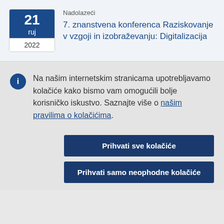Nadolazeći
7. znanstvena konferenca Raziskovanje v vzgoji in izobraževanju: Digitalizacija
Na našim internetskim stranicama upotrebljavamo kolačiće kako bismo vam omogućili bolje korisničko iskustvo. Saznajte više o našim pravilima o kolačićima.
Prihvati sve kolačiće
Prihvati samo neophodne kolačiće